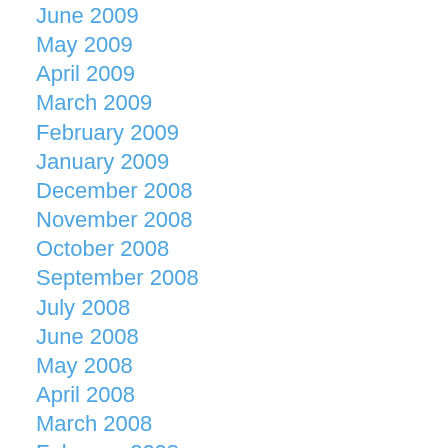June 2009
May 2009
April 2009
March 2009
February 2009
January 2009
December 2008
November 2008
October 2008
September 2008
July 2008
June 2008
May 2008
April 2008
March 2008
February 2008
January 2008
December 2007
November 2007
October 2007